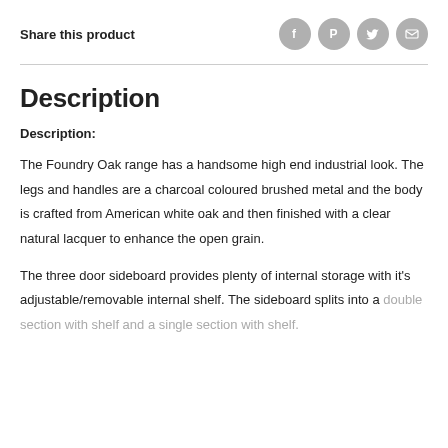Share this product
[Figure (infographic): Social sharing icons: Facebook, Pinterest, Twitter, Email - grey circular buttons]
Description
Description:
The Foundry Oak range has a handsome high end industrial look. The legs and handles are a charcoal coloured brushed metal and the body is crafted from American white oak and then finished with a clear natural lacquer to enhance the open grain.
The three door sideboard provides plenty of internal storage with it's adjustable/removable internal shelf. The sideboard splits into a double section with shelf and a single section with shelf.